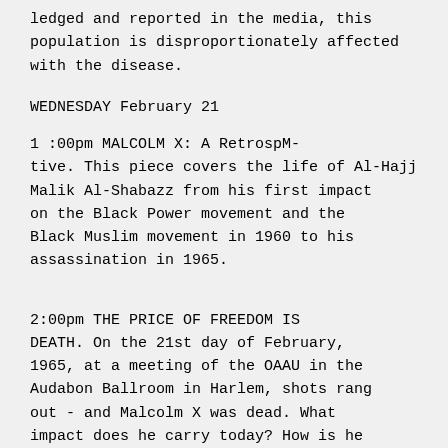ledged and reported in the media, this population is disproportionately affected with the disease.
WEDNESDAY February 21
1 :00pm MALCOLM X: A RetrospM-tive. This piece covers the life of Al-Hajj Malik Al-Shabazz from his first impact on the Black Power movement and the Black Muslim movement in 1960 to his assassination in 1965.
2:00pm THE PRICE OF FREEDOM IS DEATH. On the 21st day of February, 1965, at a meeting of the OAAU in the Audabon Ballroom in Harlem, shots rang out - and Malcolm X was dead. What impact does he carry today? How is he viewed by the Third VVorld? Also, hear the words from some of the most famous speeches of this great African-American